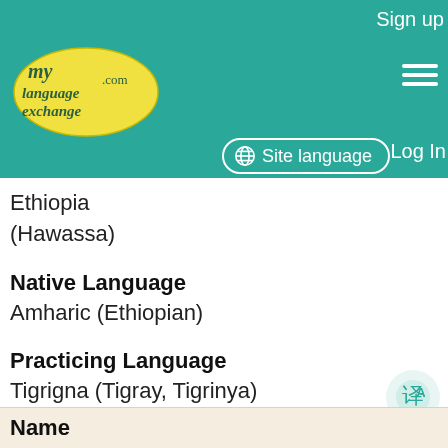Sign up | Site language | Log In
[Figure (logo): MyLanguageExchange.com logo — yellow oval with script text]
Ethiopia (Hawassa)
Native Language
Amharic (Ethiopian)
Practicing Language
Tigrigna (Tigray, Tigrinya)
French
Description
I love learning new languages! I am a native Amharic speaker and I'm also a fluent English speaker. I would love to learn Tigrigna because I have friends and extended family members who speak Tigrigna and I really love the language.
Name